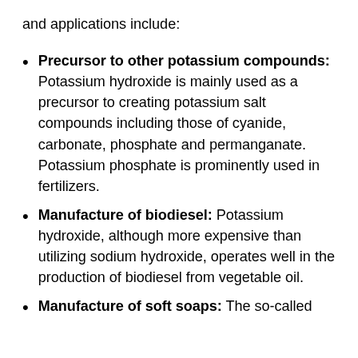and applications include:
Precursor to other potassium compounds: Potassium hydroxide is mainly used as a precursor to creating potassium salt compounds including those of cyanide, carbonate, phosphate and permanganate. Potassium phosphate is prominently used in fertilizers.
Manufacture of biodiesel: Potassium hydroxide, although more expensive than utilizing sodium hydroxide, operates well in the production of biodiesel from vegetable oil.
Manufacture of soft soaps: The so-called